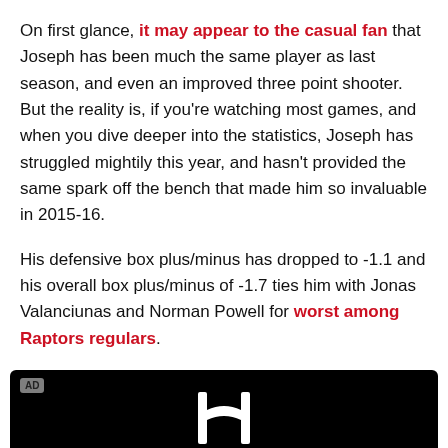On first glance, it may appear to the casual fan that Joseph has been much the same player as last season, and even an improved three point shooter. But the reality is, if you're watching most games, and when you dive deeper into the statistics, Joseph has struggled mightily this year, and hasn't provided the same spark off the bench that made him so invaluable in 2015-16.
His defensive box plus/minus has dropped to -1.1 and his overall box plus/minus of -1.7 ties him with Jonas Valanciunas and Norman Powell for worst among Raptors regulars.
[Figure (other): Black advertisement banner with Honda logo (H) in white and AD badge in upper left corner]